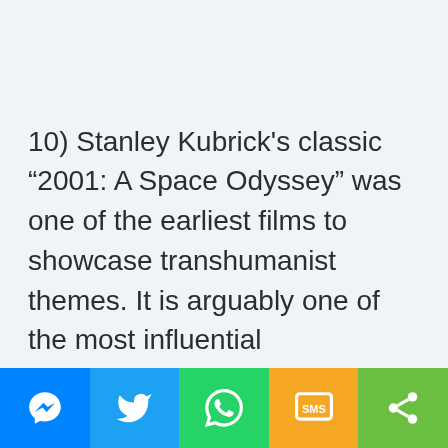10) Stanley Kubrick’s classic “2001: A Space Odyssey” was one of the earliest films to showcase transhumanist themes. It is arguably one of the most influential
[Figure (other): Social sharing bar at the bottom with five buttons: Messenger (blue), Twitter (light blue), WhatsApp (green), SMS (yellow/orange), and Share/More (green)]